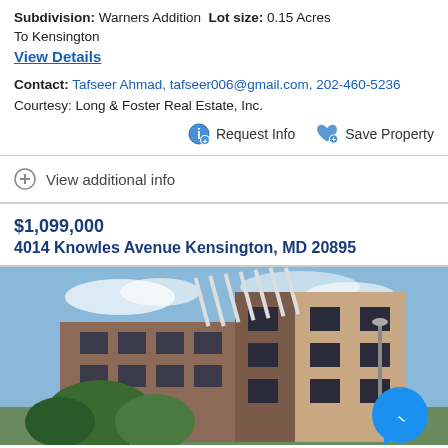Subdivision: Warners Addition  Lot size: 0.15 Acres
To Kensington
View Details
Contact: Tafseer Ahmad, tafseer006@gmail.com, 202-460-5236
Courtesy: Long & Foster Real Estate, Inc.
Request Info   Save Property
View additional info
$1,099,000
4014 Knowles Avenue Kensington, MD 20895
[Figure (photo): Exterior photo of a modern multi-story brick and tan building with rooftop pergola structure, trees in foreground, blue sky background, with Facebook Messenger icon overlay in lower right.]